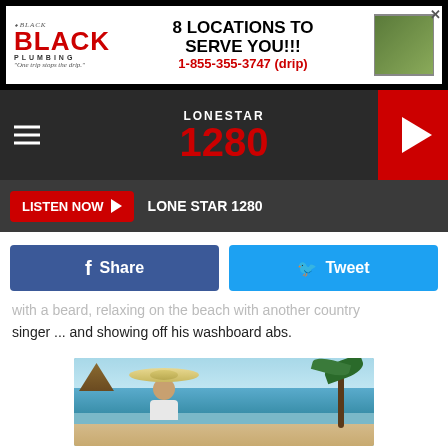[Figure (screenshot): Black Plumbing advertisement banner: '8 LOCATIONS TO SERVE YOU!!! 1-855-355-3747 (drip)']
[Figure (screenshot): Lone Star 1280 radio station navigation bar with hamburger menu, logo, and red play button]
[Figure (screenshot): Listen Now button bar with red button and LONE STAR 1280 text]
[Figure (screenshot): Facebook Share and Twitter Tweet social sharing buttons]
... with a beard, relaxing on the beach with another country singer ... and showing off his washboard abs.
[Figure (photo): Person wearing a large sombrero on a beach with palm trees in the background]